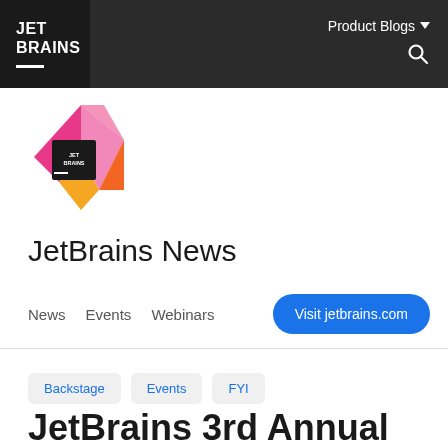JET BRAINS | Product Blogs
[Figure (logo): JetBrains colorful diamond logo with pink, orange and gold colors, with a black JetBrains square inset]
JetBrains News
News   Events   Webinars   Visit jetbrains.com
Backstage   Events   FYI
JetBrains 3rd Annual